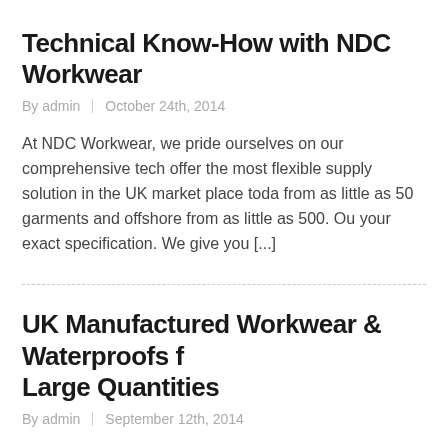Technical Know-How with NDC Workwear
By admin | October 24th, 2014
At NDC Workwear, we pride ourselves on our comprehensive tech offer the most flexible supply solution in the UK market place toda from as little as 50 garments and offshore from as little as 500. Ou your exact specification. We give you [...]
UK Manufactured Workwear & Waterproofs f Large Quantities
By admin | September 12th, 2014
Take a new direction in sourcing UK Manufactured Workwear & W Workwear. With a wealth of technical knowledge and highly a highl we are able to offer a completely flexible solution. Add reflective ta your colour, line or unlined the options are vast and available for a